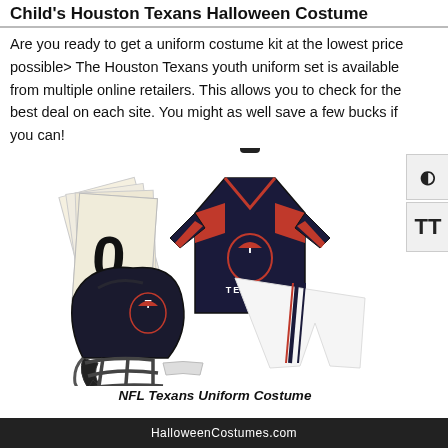Child's Houston Texans Halloween Costume
Are you ready to get a uniform costume kit at the lowest price possible> The Houston Texans youth uniform set is available from multiple online retailers. This allows you to check for the best deal on each site. You might as well save a few bucks if you can!
[Figure (photo): Houston Texans NFL youth uniform costume set showing a dark navy jersey with red accents and Texans logo, white football pants with navy/red stripe, a black Texans football helmet with face mask, and a set of iron-on number sheets.]
NFL Texans Uniform Costume
HalloweenCostumes.com